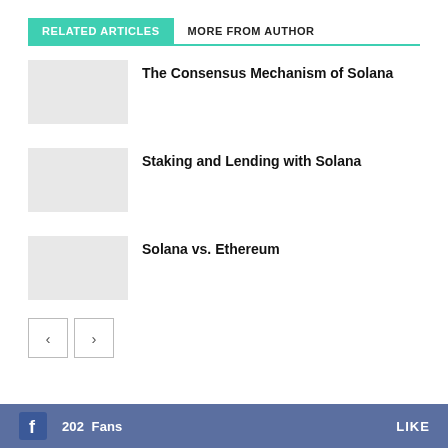RELATED ARTICLES
MORE FROM AUTHOR
The Consensus Mechanism of Solana
Staking and Lending with Solana
Solana vs. Ethereum
f  202  Fans  LIKE